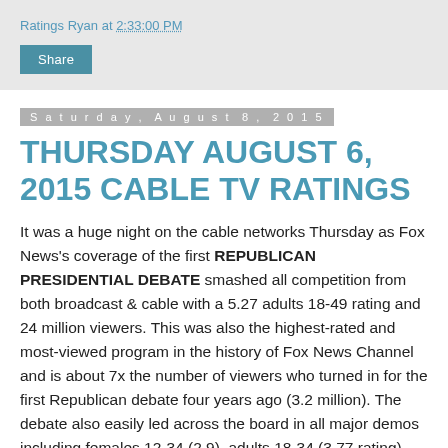Ratings Ryan at 2:33:00 PM
Share
Saturday, August 8, 2015
THURSDAY AUGUST 6, 2015 CABLE TV RATINGS
It was a huge night on the cable networks Thursday as Fox News's coverage of the first REPUBLICAN PRESIDENTIAL DEBATE smashed all competition from both broadcast & cable with a 5.27 adults 18-49 rating and 24 million viewers. This was also the highest-rated and most-viewed program in the history of Fox News Channel and is about 7x the number of viewers who turned in for the first Republican debate four years ago (3.2 million). The debate also easily led across the board in all major demos including females 12-34 (2.9), adults 18-34 (3.77 rating), both men & women 18-34 (4.41/3.13), men & women 18-49 (6.03/4.53), adults 25-54